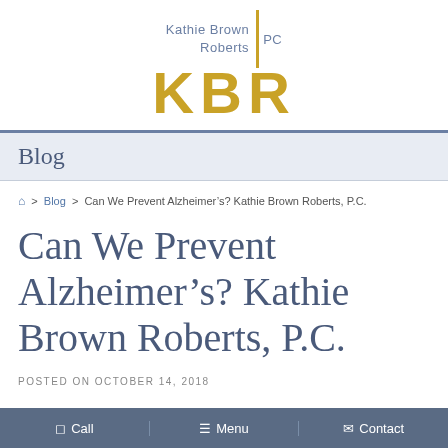[Figure (logo): KBR logo with gold letters 'KBR', vertical gold bar divider, and gray-blue text 'Kathie Brown Roberts PC']
Blog
🏠 > Blog > Can We Prevent Alzheimer's? Kathie Brown Roberts, P.C.
Can We Prevent Alzheimer's? Kathie Brown Roberts, P.C.
POSTED ON OCTOBER 14, 2018
Call   Menu   Contact